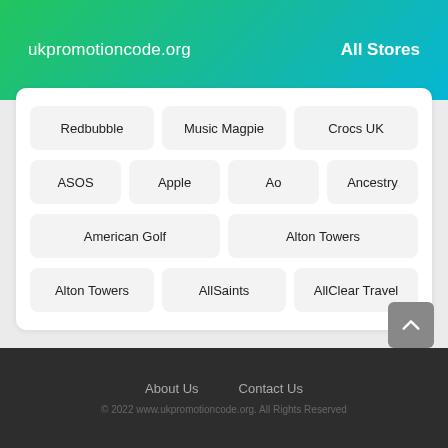ukpromotioncode.org   All Stores
[Figure (other): Grid of store buttons: Redbubble, Music Magpie, Crocs UK, ASOS, Apple, Ao, Ancestry, American Golf, Alton Towers, Alton Towers, AllSaints, AllClear Travel]
About Us   Contact Us
© 2022 www.ukpromotioncode.org. All Rights Reserved